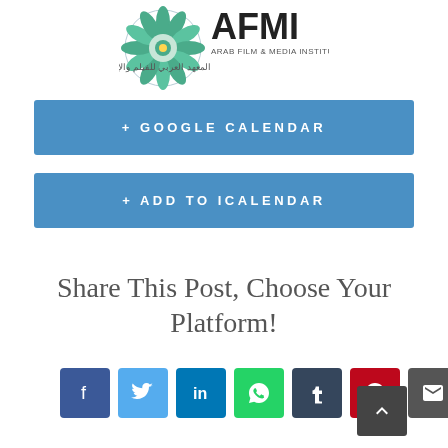[Figure (logo): AFMI - Arab Film & Media Institute logo with decorative circular mandala-style icon on the left and text on the right]
+ GOOGLE CALENDAR
+ ADD TO ICALENDAR
Share This Post, Choose Your Platform!
[Figure (illustration): Row of social media share icons: Facebook, Twitter, LinkedIn, WhatsApp, Tumblr, Pinterest, Email]